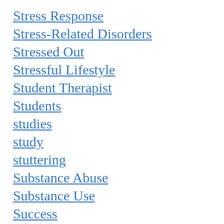Stress Response
Stress-Related Disorders
Stressed Out
Stressful Lifestyle
Student Therapist
Students
studies
study
stuttering
Substance Abuse
Substance Use
Success
Success & Achievement
Success and failure
Suicide